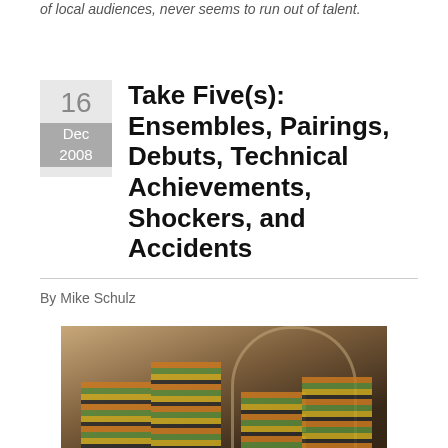of local audiences, never seems to run out of talent.
Take Five(s): Ensembles, Pairings, Debuts, Technical Achievements, Shockers, and Accidents
By Mike Schulz
[Figure (photo): Four performers in striped vests and straw hats posing on stage, smiling at camera]